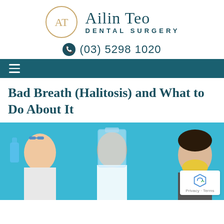[Figure (logo): Ailin Teo Dental Surgery logo: circular monogram 'AT' in gold/tan outline on left, 'Ailin Teo' in teal serif font with 'DENTAL SURGERY' in spaced teal sans-serif below]
(03) 5298 1020
Navigation bar with hamburger menu icon
Bad Breath (Halitosis) and What to Do About It
[Figure (photo): Three people against a bright blue background: left person holding a blue water bottle near face, center person wearing a clear plastic face shield, right person wearing a yellow face mask]